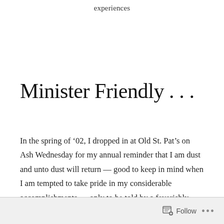experiences
Minister Friendly . . .
In the spring of ’02, I dropped in at Old St. Pat’s on Ash Wednesday for my annual reminder that I am dust and unto dust will return — good to keep in mind when I am tempted to take pride in my considerable accomplishments — only to be told by a feverishly smiling 35-ish woman-with-ashes that God loves me, or something like it.
Follow •••